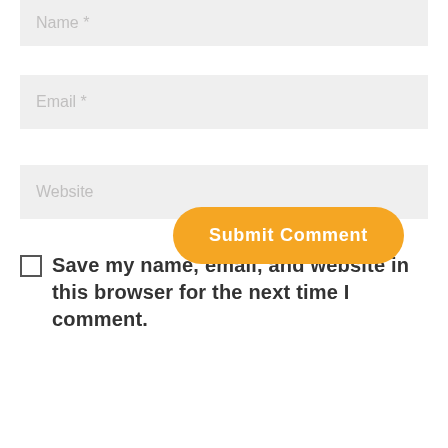Name *
Email *
Website
Save my name, email, and website in this browser for the next time I comment.
Submit Comment